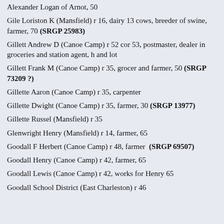Alexander Logan of Arnot, 50
Gile Loriston K (Mansfield) r 16, dairy 13 cows, breeder of swine, farmer, 70 (SRGP 25983)
Gillett Andrew D (Canoe Camp) r 52 cor 53, postmaster, dealer in groceries and station agent, h and lot
Gillett Frank M (Canoe Camp) r 35, grocer and farmer, 50 (SRGP 73209 ?)
Gillette Aaron (Canoe Camp) r 35, carpenter
Gillette Dwight (Canoe Camp) r 35, farmer, 30 (SRGP 13977)
Gillette Russel (Mansfield) r 35
Glenwright Henry (Mansfield) r 14, farmer, 65
Goodall F Herbert (Canoe Camp) r 48, farmer (SRGP 69507)
Goodall Henry (Canoe Camp) r 42, farmer, 65
Goodall Lewis (Canoe Camp) r 42, works for Henry 65
Goodall School District (East Charleston) r 46